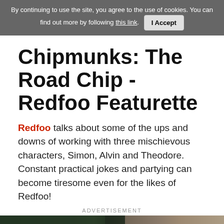By continuing to use the site, you agree to the use of cookies. You can find out more by following this link. I Accept
Chipmunks: The Road Chip - Redfoo Featurette
Redfoo talks about some of the ups and downs of working with three mischievous characters, Simon, Alvin and Theodore. Constant practical jokes and partying can become tiresome even for the likes of Redfoo!
ADVERTISEMENT
[Figure (photo): Bottom portion of a photograph showing two people or subjects, partially visible, with dark green and beige/blonde tones.]